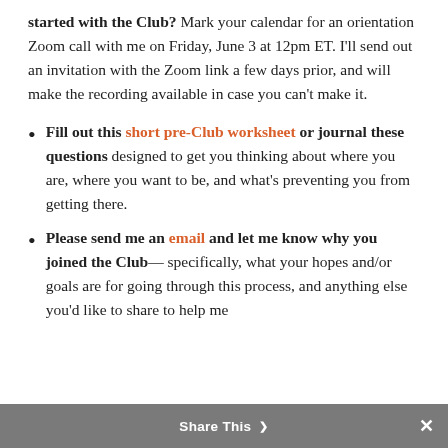started with the Club? Mark your calendar for an orientation Zoom call with me on Friday, June 3 at 12pm ET. I'll send out an invitation with the Zoom link a few days prior, and will make the recording available in case you can't make it.
Fill out this short pre-Club worksheet or journal these questions designed to get you thinking about where you are, where you want to be, and what's preventing you from getting there.
Please send me an email and let me know why you joined the Club— specifically, what your hopes and/or goals are for going through this process, and anything else you'd like to share to help me
Share This ×